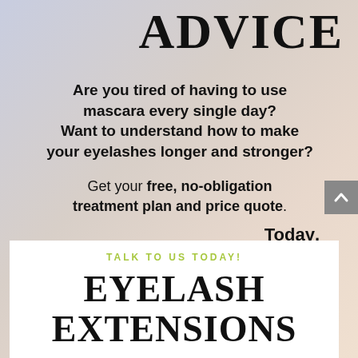ADVICE
Are you tired of having to use mascara every single day? Want to understand how to make your eyelashes longer and stronger?
Get your free, no-obligation treatment plan and price quote.
Today.
TALK TO US TODAY!
EYELASH EXTENSIONS